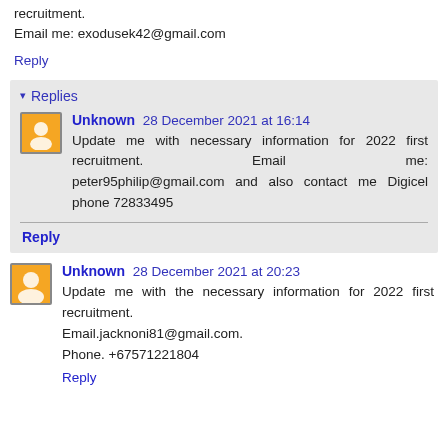recruitment.
Email me: exodusek42@gmail.com
Reply
Replies
Unknown 28 December 2021 at 16:14
Update me with necessary information for 2022 first recruitment. Email me: peter95philip@gmail.com and also contact me Digicel phone 72833495
Reply
Unknown 28 December 2021 at 20:23
Update me with the necessary information for 2022 first recruitment.
Email.jacknoni81@gmail.com.
Phone. +67571221804
Reply